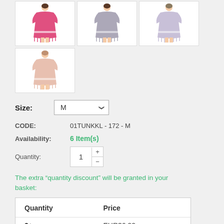[Figure (photo): Four product thumbnail images of women's tunics/kaftans in different colors: pink/hot pink, gray, lavender, and peach/light pink]
Size: M
CODE: 01TUNKKL - 172 - M
Availability: 6 Item(s)
Quantity: 1
The extra “quantity discount” will be granted in your basket:
| Quantity | Price |
| --- | --- |
| 2+ | EUR36.90 |